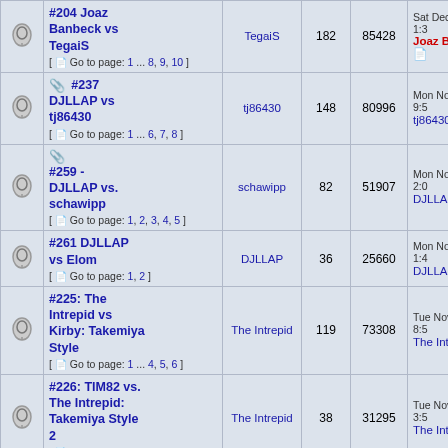|  | Topic | Author | Replies | Views | Last Post |
| --- | --- | --- | --- | --- | --- |
|  | #204 Joaz Banbeck vs TegaiS [Go to page: 1 ... 8, 9, 10] | TegaiS | 182 | 85428 | Sat Dec 17, 2016 1:3 Joaz Banbeck |
|  | #237 DJLLAP vs tj86430 [Go to page: 1 ... 6, 7, 8] | tj86430 | 148 | 80996 | Mon Nov 21, 2016 9:5 tj86430 |
|  | #259 - DJLLAP vs. schawipp [Go to page: 1, 2, 3, 4, 5] | schawipp | 82 | 51907 | Mon Nov 21, 2016 2:0 DJLLAP |
|  | #261 DJLLAP vs Elom [Go to page: 1, 2] | DJLLAP | 36 | 25660 | Mon Nov 21, 2016 1:4 DJLLAP |
|  | #225: The Intrepid vs Kirby: Takemiya Style [Go to page: 1 ... 4, 5, 6] | The Intrepid | 119 | 73308 | Tue Nov 08, 2016 8:5 The Intrepid |
|  | #226: TIM82 vs. The Intrepid: Takemiya Style 2 [Go to page: 1, 2] | The Intrepid | 38 | 31295 | Tue Nov 08, 2016 3:5 The Intrepid |